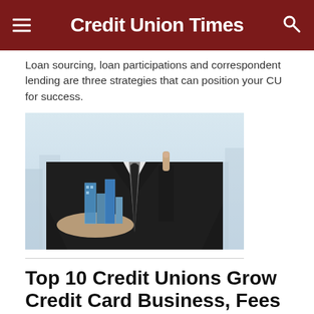Credit Union Times
Loan sourcing, loan participations and correspondent lending are three strategies that can position your CU for success.
[Figure (photo): Businessman in dark suit holding miniature city buildings in one hand and pointing upward with one finger, symbolizing growth and investment in real estate or finance.]
Top 10 Credit Unions Grow Credit Card Business, Fees & Net Interest Income